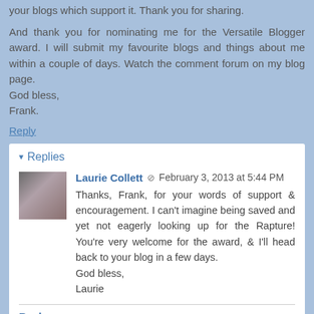your blogs which support it. Thank you for sharing.
And thank you for nominating me for the Versatile Blogger award. I will submit my favourite blogs and things about me within a couple of days. Watch the comment forum on my blog page.
God bless,
Frank.
Reply
Replies
Laurie Collett  February 3, 2013 at 5:44 PM
Thanks, Frank, for your words of support & encouragement. I can't imagine being saved and yet not eagerly looking up for the Rapture!
You're very welcome for the award, & I'll head back to your blog in a few days.
God bless,
Laurie
Reply